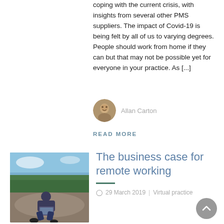coping with the current crisis, with insights from several other PMS suppliers. The impact of Covid-19 is being felt by all of us to varying degrees. People should work from home if they can but that may not be possible yet for everyone in your practice. As [...]
Allan Carton
READ MORE
[Figure (photo): Person sitting outdoors on rocks using a laptop computer, with trees and sky in background]
The business case for remote working
29 March 2019   Virtual practice